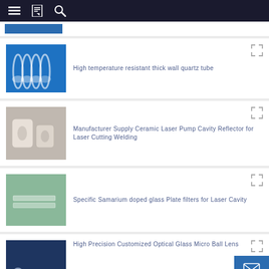Navigation bar with menu, bookmark, and search icons
[Figure (photo): Partial view of a product card with blue image at top]
[Figure (photo): High temperature resistant thick wall quartz tube - clear glass tubes on blue background]
High temperature resistant thick wall quartz tube
[Figure (photo): Ceramic Laser Pump Cavity Reflector - white ceramic parts on blue background]
Manufacturer Supply Ceramic Laser Pump Cavity Reflector for Laser Cutting Welding
[Figure (photo): Samarium doped glass plate filters - thin glass plates on grey-green background]
Specific Samarium doped glass Plate filters for Laser Cavity
[Figure (photo): Optical Glass Micro Ball Lens - small glass spheres on dark blue background]
High Precision Customized Optical Glass Micro Ball Lens